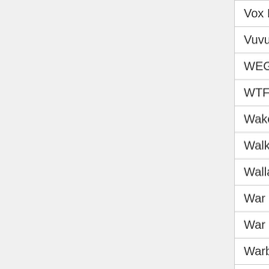| Name | Col2 | Col3 |
| --- | --- | --- |
| Vox Populi Vox Dei | N/A | N... |
| Vuvu Hero | N/A | N... |
| WEG Search Butterflies | N/A | N... |
| WTF DOC | N/A | N... |
| Wake Up Calls | N/A | N... |
| Walkright | N/A | N... |
| Wallace & Gromit: Snow Drift | N/A | N... |
| War Game | N/A | N... |
| War Machines | Yes | Z... |
| Warbears | N/A | N... |
| Warfare 1917 | N/A | N... |
| Warfare 1944 | N/A | N... |
| Warlords: Call to Arms | N/A | N... |
| Warp Shot | N/A | N... |